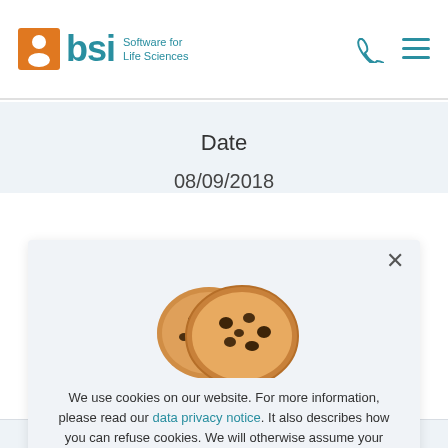BSI Software for Life Sciences
Date
08/09/2018
[Figure (photo): Cookie consent popup showing two chocolate chip cookies, with text about cookie policy and links to data privacy notice and favorite cookie recipe.]